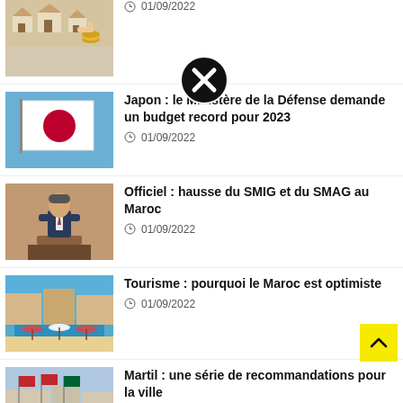[Figure (photo): Partial view of houses/real estate image at top]
01/09/2022
[Figure (photo): Japanese flag on blue sky background]
Japon : le Ministère de la Défense demande un budget record pour 2023
01/09/2022
[Figure (photo): Man in suit speaking at podium]
Officiel : hausse du SMIG et du SMAG au Maroc
01/09/2022
[Figure (photo): Coastal tourism resort with pool and beach]
Tourisme : pourquoi le Maroc est optimiste
01/09/2022
[Figure (photo): City street with Moroccan flags]
Martil : une série de recommandations pour la ville
01/09/2022